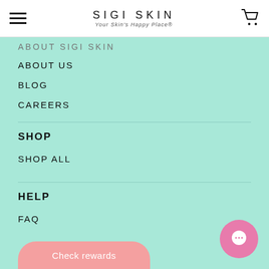SIGI SKIN — Your Skin's Happy Place®
ABOUT SIGI SKIN
ABOUT US
BLOG
CAREERS
SHOP
SHOP ALL
HELP
FAQ
Check rewards